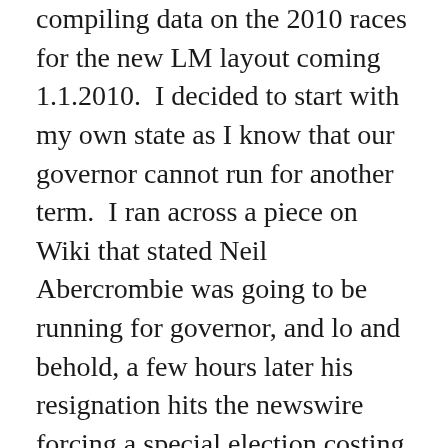compiling data on the 2010 races for the new LM layout coming 1.1.2010.  I decided to start with my own state as I know that our governor cannot run for another term.  I ran across a piece on Wiki that stated Neil Abercrombie was going to be running for governor, and lo and behold, a few hours later his resignation hits the newswire forcing a special election costing millions of dollars to a state already swimming in the deep end of the red pool.  Truth be told, the reality of a democrat being elected as governor with the legislature we currently have had me on the verge of tears most of yesterday. Hawaii Free Press has the run down on Abercrombie's corruption, but I digress.